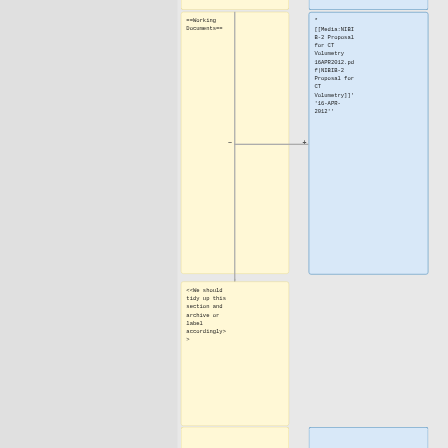==Working Documents==
* [[Media:NIBIB-2 Proposal for CT Volumetry 16APR2012.pdf|NIBIB-2 Proposal for CT Volumetry]]' '16-APR-2012' '
<<We should tidy up this section and archive or label accordingly>>